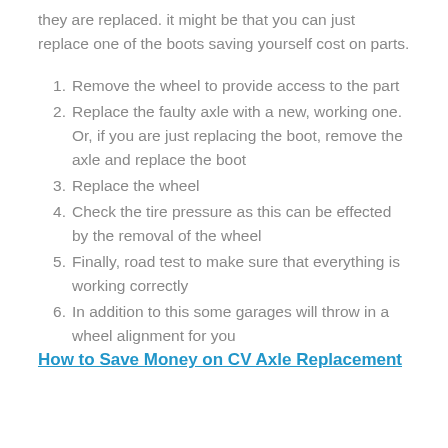they are replaced. it might be that you can just replace one of the boots saving yourself cost on parts.
Remove the wheel to provide access to the part
Replace the faulty axle with a new, working one. Or, if you are just replacing the boot, remove the axle and replace the boot
Replace the wheel
Check the tire pressure as this can be effected by the removal of the wheel
Finally, road test to make sure that everything is working correctly
In addition to this some garages will throw in a wheel alignment for you
How to Save Money on CV Axle Replacement